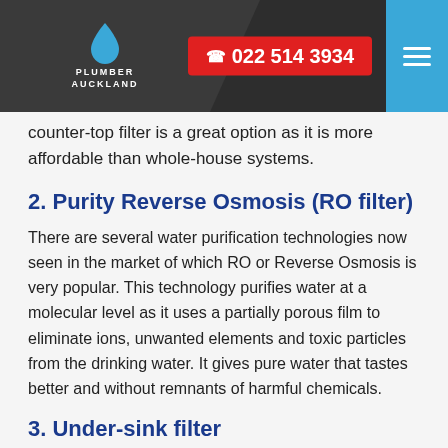PLUMBER AUCKLAND | 022 514 3934
counter-top filter is a great option as it is more affordable than whole-house systems.
2. Purity Reverse Osmosis (RO filter)
There are several water purification technologies now seen in the market of which RO or Reverse Osmosis is very popular. This technology purifies water at a molecular level as it uses a partially porous film to eliminate ions, unwanted elements and toxic particles from the drinking water. It gives pure water that tastes better and without remnants of harmful chemicals.
3. Under-sink filter
It is a convenient and space-saving option for water filter installation at home. Under-sink filters do not come in the way of the aesthetics of your interiors and still work